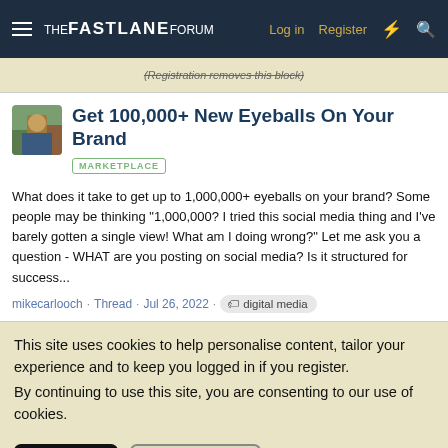THE FASTLANE FORUM  Log in  Register
(Registration removes this block)
Get 100,000+ New Eyeballs On Your Brand
MARKETPLACE
What does it take to get up to 1,000,000+ eyeballs on your brand? Some people may be thinking "1,000,000? I tried this social media thing and I've barely gotten a single view! What am I doing wrong?" Let me ask you a question - WHAT are you posting on social media? Is it structured for success...
mikecarlooch · Thread · Jul 26, 2022 · digital media
This site uses cookies to help personalise content, tailor your experience and to keep you logged in if you register.
By continuing to use this site, you are consenting to our use of cookies.
Accept  Learn more...